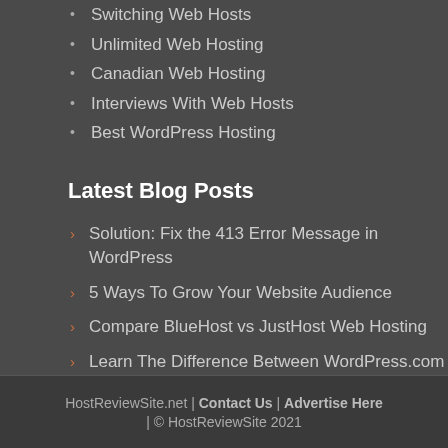Switching Web Hosts
Unlimited Web Hosting
Canadian Web Hosting
Interviews With Web Hosts
Best WordPress Hosting
Latest Blog Posts
Solution: Fix the 413 Error Message in WordPress
5 Ways To Grow Your Website Audience
Compare BlueHost vs JustHost Web Hosting
Learn The Difference Between WordPress.com and WordPress.org
HostReviewSite.net | Contact Us | Advertise Here | © HostReviewSite 2021